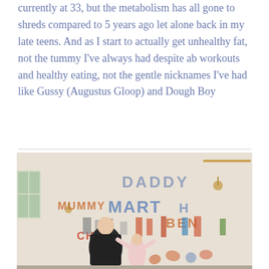currently at 33, but the metabolism has all gone to shreds compared to 5 years ago let alone back in my late teens. And as I start to actually get unhealthy fat, not the tummy I've always had despite ab workouts and healthy eating, not the gentle nicknames I've had like Gussy (Augustus Gloop) and Dough Boy
[Figure (photo): A person and a child stand in front of a large white wall covered in children's drawings and writing. The words DADDY, MUMMY, MARTHA, BEN, CHIP are written in large letters alongside various colorful painted shapes and handprints.]